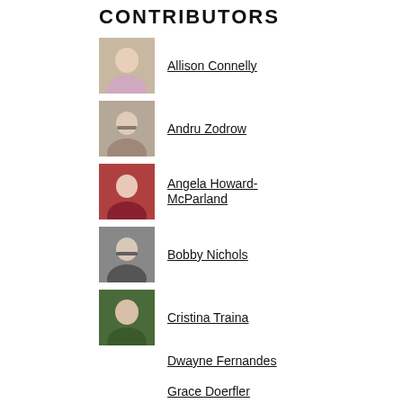CONTRIBUTORS
Allison Connelly
Andru Zodrow
Angela Howard-McParland
Bobby Nichols
Cristina Traina
Dwayne Fernandes
Grace Doerfler